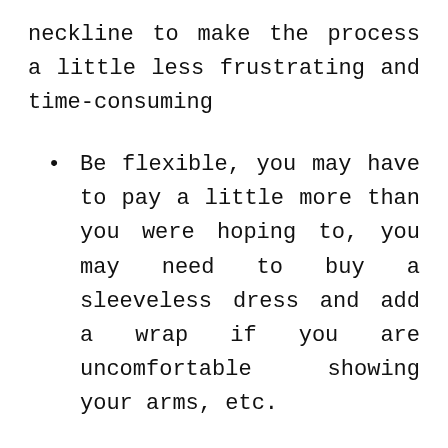neckline to make the process a little less frustrating and time-consuming
Be flexible, you may have to pay a little more than you were hoping to, you may need to buy a sleeveless dress and add a wrap if you are uncomfortable showing your arms, etc.
If all else fails, you know where to find me (you can reply to this email and someone else). If